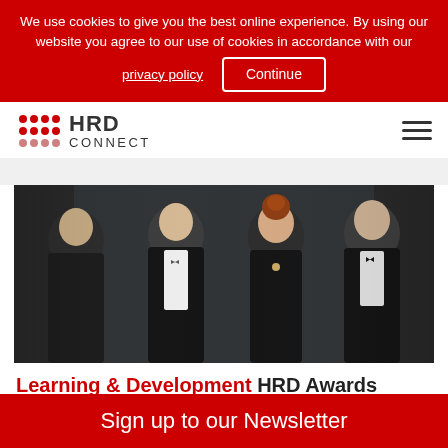We use cookies to give you the best online experience. By using our website you agree to our use of cookies in accordance with our privacy policy   Continue
[Figure (logo): HRD Connect logo with red dot grid pattern on the left and text HRD CONNECT on the right]
[Figure (photo): Four people in formal attire (black tie/evening wear) standing together at what appears to be an awards ceremony. One woman with red/auburn hair in an updo is in the center.]
Learning & Development HRD Awards winner's case study: Amplifying talent
Sign up to our Newsletter